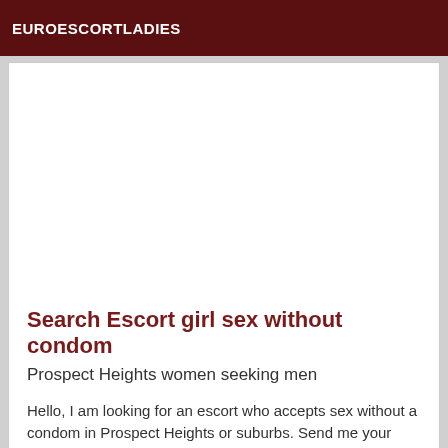EUROESCORTLADIES
Search Escort girl sex without condom
Prospect Heights women seeking men
Hello, I am looking for an escort who accepts sex without a condom in Prospect Heights or suburbs. Send me your proposal by email! Thanks